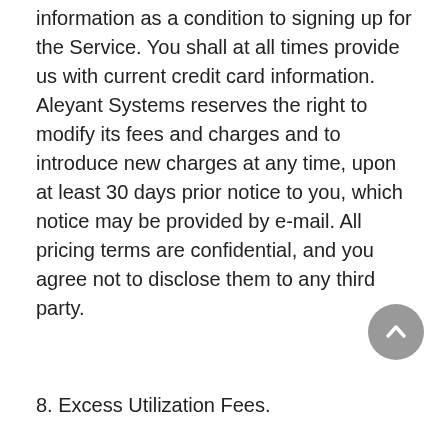information as a condition to signing up for the Service. You shall at all times provide us with current credit card information. Aleyant Systems reserves the right to modify its fees and charges and to introduce new charges at any time, upon at least 30 days prior notice to you, which notice may be provided by e-mail. All pricing terms are confidential, and you agree not to disclose them to any third party.
8. Excess Utilization Fees.
8A. The following applies to the online Service:
Aleyant Systems maintains policies concerning the fair and reasonable use of Service resources. Unless otherwise stipulated in the Order Form, the resources